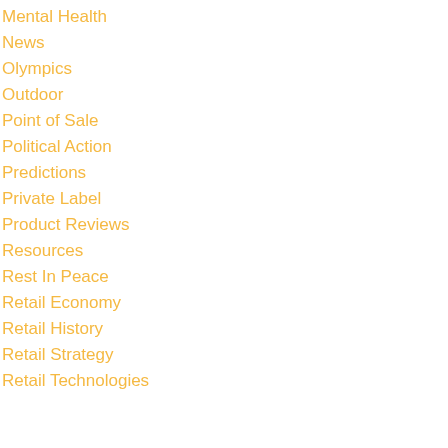Mental Health
News
Olympics
Outdoor
Point of Sale
Political Action
Predictions
Private Label
Product Reviews
Resources
Rest In Peace
Retail Economy
Retail History
Retail Strategy
Retail Technologies